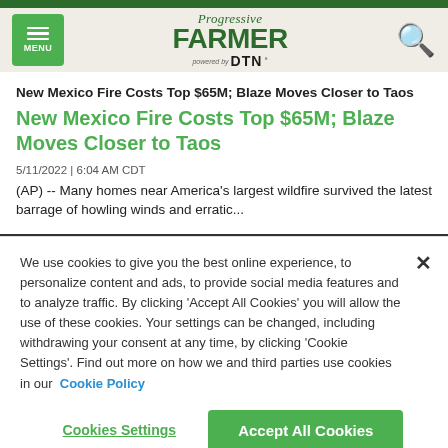Progressive Farmer powered by DTN – MENU
New Mexico Fire Costs Top $65M; Blaze Moves Closer to Taos
New Mexico Fire Costs Top $65M; Blaze Moves Closer to Taos
5/11/2022 | 6:04 AM CDT
(AP) -- Many homes near America's largest wildfire survived the latest barrage of howling winds and erratic...
We use cookies to give you the best online experience, to personalize content and ads, to provide social media features and to analyze traffic. By clicking 'Accept All Cookies' you will allow the use of these cookies. Your settings can be changed, including withdrawing your consent at any time, by clicking 'Cookie Settings'. Find out more on how we and third parties use cookies in our Cookie Policy
Cookies Settings | Accept All Cookies